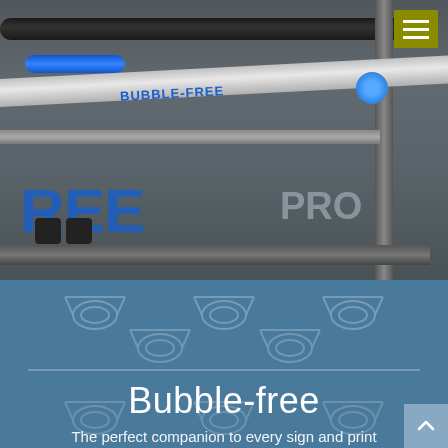[Figure (photo): Close-up photograph of a BUBBLE-FREE PRO lamination machine showing metal rollers, frame, blue handles and branding text in blue on a grey metal bar]
Bubble-free
The perfect companion to every sign and print